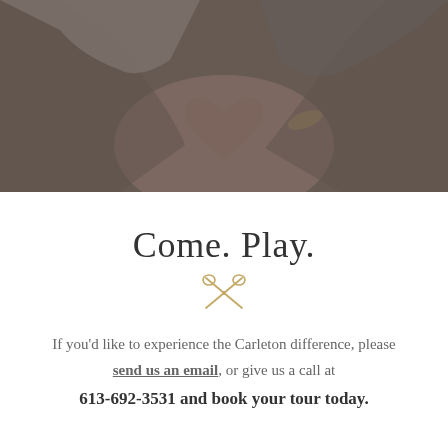[Figure (photo): Two people forming a heart shape with their hands, dark overlay on the photo, warm toned wedding-style image]
Come. Play.
[Figure (illustration): Decorative crossed scissors icon in golden/tan color]
If you'd like to experience the Carleton difference, please send us an email, or give us a call at
613-692-3531 and book your tour today.